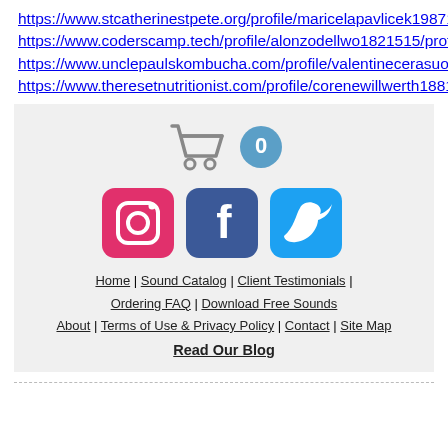https://www.stcatherinestpete.org/profile/maricelapavlicek19871151/profile
https://www.coderscamp.tech/profile/alonzodellwo1821515/profile
https://www.unclepaulskombucha.com/profile/valentinecerasuolo8661790/profile
https://www.theresetnutritionist.com/profile/corenewillwerth18816525/profile
[Figure (infographic): Shopping cart icon and circular badge icon (top icons), then Instagram, Facebook, Twitter social media icons below]
Home | Sound Catalog | Client Testimonials | Ordering FAQ | Download Free Sounds About | Terms of Use & Privacy Policy | Contact | Site Map Read Our Blog
dashed horizontal divider line